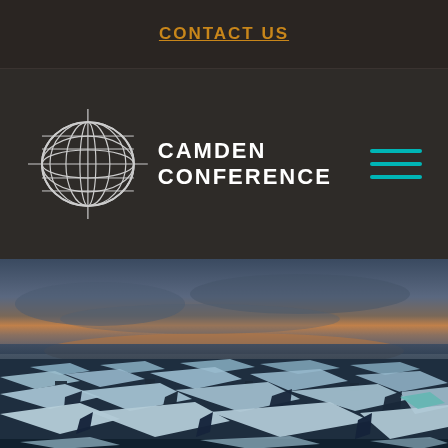CONTACT US
[Figure (logo): Camden Conference logo — globe/grid icon with crosshairs and text 'Camden Conference']
[Figure (photo): Aerial photo of fragmented Arctic sea ice floating on dark water under a dramatic twilight sky with orange and blue tones on the horizon]